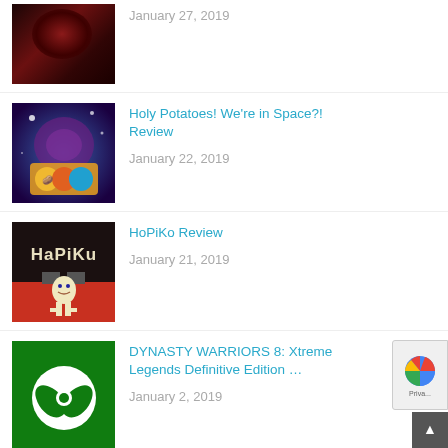January 27, 2019
Holy Potatoes! We're in Space?! Review
January 22, 2019
HoPiKo Review
January 21, 2019
DYNASTY WARRIORS 8: Xtreme Legends Definitive Edition …
January 2, 2019
Brash Games Copyright © 2022.
All rights reserved. Use, copying, reproduction or redistribution of